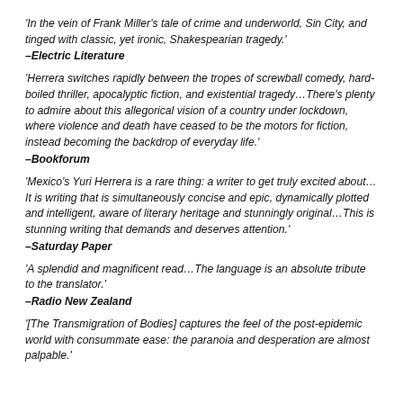'In the vein of Frank Miller's tale of crime and underworld, Sin City, and tinged with classic, yet ironic, Shakespearian tragedy.'
–Electric Literature
'Herrera switches rapidly between the tropes of screwball comedy, hard-boiled thriller, apocalyptic fiction, and existential tragedy…There's plenty to admire about this allegorical vision of a country under lockdown, where violence and death have ceased to be the motors for fiction, instead becoming the backdrop of everyday life.'
–Bookforum
'Mexico's Yuri Herrera is a rare thing: a writer to get truly excited about…It is writing that is simultaneously concise and epic, dynamically plotted and intelligent, aware of literary heritage and stunningly original…This is stunning writing that demands and deserves attention.'
–Saturday Paper
'A splendid and magnificent read…The language is an absolute tribute to the translator.'
–Radio New Zealand
'[The Transmigration of Bodies] captures the feel of the post-epidemic world with consummate ease: the paranoia and desperation are almost palpable.'